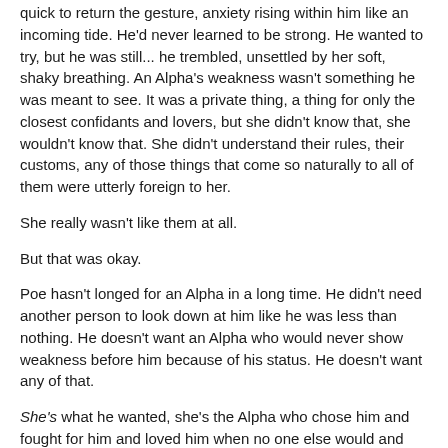quick to return the gesture, anxiety rising within him like an incoming tide. He'd never learned to be strong. He wanted to try, but he was still... he trembled, unsettled by her soft, shaky breathing. An Alpha's weakness wasn't something he was meant to see. It was a private thing, a thing for only the closest confidants and lovers, but she didn't know that, she wouldn't know that. She didn't understand their rules, their customs, any of those things that come so naturally to all of them were utterly foreign to her.
She really wasn't like them at all.
But that was okay.
Poe hasn't longed for an Alpha in a long time. He didn't need another person to look down at him like he was less than nothing. He doesn't want an Alpha who would never show weakness before him because of his status. He doesn't want any of that.
She's what he wanted, she's the Alpha who chose him and fought for him and loved him when no one else would and everything else was just... noise.
They were... family.